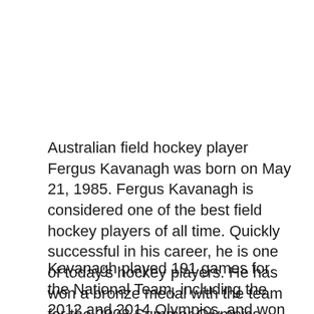Australian field hockey player Fergus Kavanagh was born on May 21, 1985. Fergus Kavanagh is considered one of the best field hockey players of all time. Quickly successful in his career, he is one of today's hockey players. He has won a bronze medal with the team for the 2008 Summer Olympics.
Kavanagh played 191 games for the National Team, including the 2012 and 2014 Olympics, and won two gold and bronze